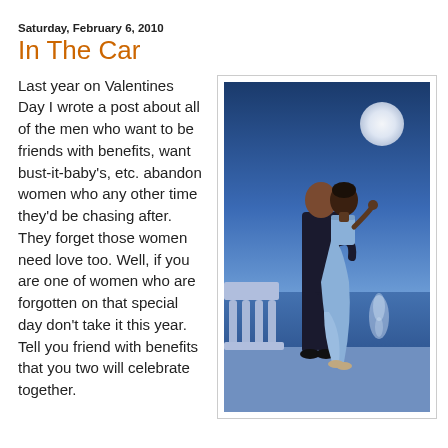Saturday, February 6, 2010
In The Car
Last year on Valentines Day I wrote a post about all of the men who want to be friends with benefits, want bust-it-baby's, etc. abandon women who any other time they'd be chasing after. They forget those women need love too. Well, if you are one of women who are forgotten on that special day don't take it this year. Tell you friend with benefits that you two will celebrate together.
[Figure (illustration): Painting of a couple dancing on a moonlit balcony by the sea. A man in a dark suit and a woman in a light blue dress embrace. A full moon is visible in the upper right, reflecting on the water. A white balustrade is visible on the left.]